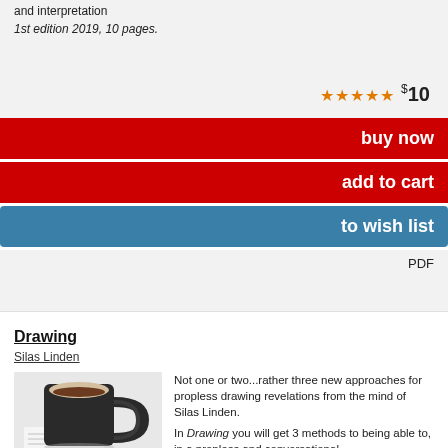and interpretation
1st edition 2019, 10 pages.
★★★★★ $10
buy now
add to cart
to wish list
PDF
Drawing
Silas Linden
[Figure (photo): A black coffee mug on a light surface with a notebook or paper underneath]
Not one or two...rather three new approaches for propless drawing revelations from the mind of Silas Linden.

In Drawing you will get 3 methods to being able to, in a propless and conversational